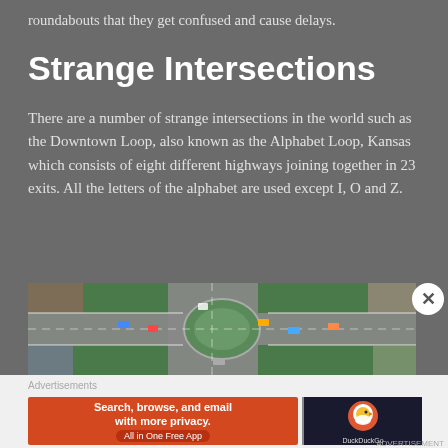roundabouts that they get confused and cause delays.
Strange Intersections
There are a number of strange intersections in the world such as the Downtown Loop, also known as the Alphabet Loop, Kansas which consists of eight different highways joining together in 23 exits. All the letters of the alphabet are used except I, O and Z.
[Figure (photo): Aerial view of a complex road intersection showing multiple roads converging, with cars visible and green spaces around the roads.]
Advertisements
[Figure (screenshot): DuckDuckGo advertisement banner: 'Search, browse, and email with more privacy. All in One Free App' with DuckDuckGo logo on dark background.]